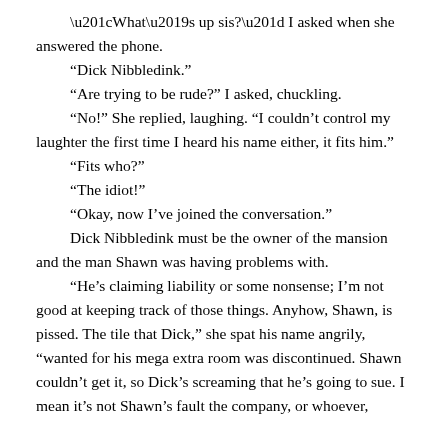“What’s up sis?” I asked when she answered the phone.
“Dick Nibbledink.”
“Are trying to be rude?” I asked, chuckling.
“No!” She replied, laughing. “I couldn’t control my laughter the first time I heard his name either, it fits him.”
“Fits who?”
“The idiot!”
“Okay, now I’ve joined the conversation.”
Dick Nibbledink must be the owner of the mansion and the man Shawn was having problems with.
“He’s claiming liability or some nonsense; I’m not good at keeping track of those things. Anyhow, Shawn, is pissed. The tile that Dick,” she spat his name angrily, “wanted for his mega extra room was discontinued. Shawn couldn’t get it, so Dick’s screaming that he’s going to sue. I mean it’s not Shawn’s fault the company, or whoever, discontinued it before he placed the order. Hold Shawn...